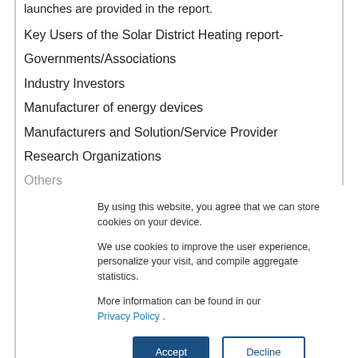launches are provided in the report.
Key Users of the Solar District Heating report-
Governments/Associations
Industry Investors
Manufacturer of energy devices
Manufacturers and Solution/Service Provider
Research Organizations
Others
By using this website, you agree that we can store cookies on your device.

We use cookies to improve the user experience, personalize your visit, and compile aggregate statistics.

More information can be found in our Privacy Policy .
Accept   Decline